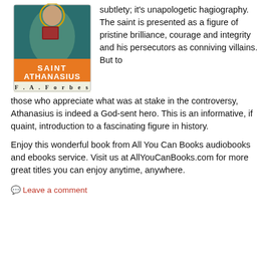[Figure (illustration): Book cover of 'Saint Athanasius' by F. A. Forbes, showing a Byzantine-style icon of a saint holding a book, with an orange banner.]
subtlety; it's unapologetic hagiography. The saint is presented as a figure of pristine brilliance, courage and integrity and his persecutors as conniving villains. But to those who appreciate what was at stake in the controversy, Athanasius is indeed a God-sent hero. This is an informative, if quaint, introduction to a fascinating figure in history.
Enjoy this wonderful book from All You Can Books audiobooks and ebooks service. Visit us at AllYouCanBooks.com for more great titles you can enjoy anytime, anywhere.
Leave a comment